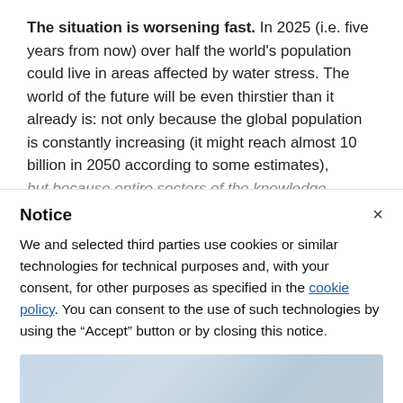The situation is worsening fast. In 2025 (i.e. five years from now) over half the world's population could live in areas affected by water stress. The world of the future will be even thirstier than it already is: not only because the global population is constantly increasing (it might reach almost 10 billion in 2050 according to some estimates), but because entire sectors of the knowledge economy are water-intensive.
Notice
We and selected third parties use cookies or similar technologies for technical purposes and, with your consent, for other purposes as specified in the cookie policy. You can consent to the use of such technologies by using the "Accept" button or by closing this notice.